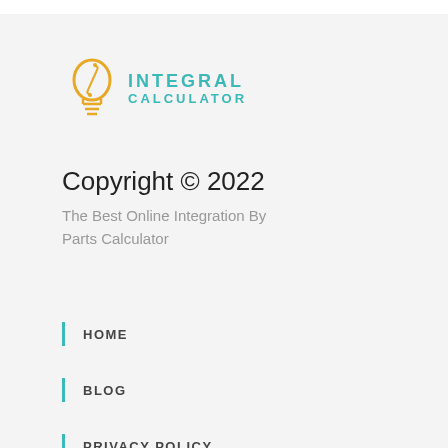[Figure (logo): Integral Calculator logo: a yellow lightbulb with an integral symbol inside, next to the text INTEGRAL CALCULATOR in teal letters]
Copyright © 2022
The Best Online Integration By Parts Calculator
HOME
BLOG
PRIVACY POLICY